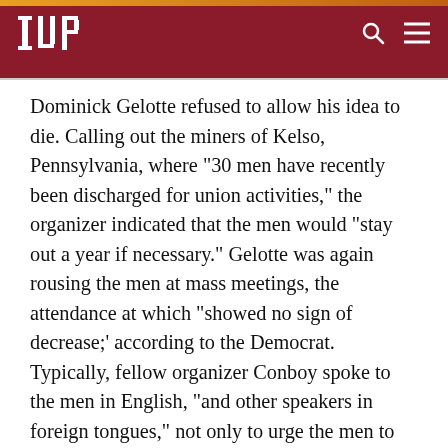IUP
Dominick Gelotte refused to allow his idea to die. Calling out the miners of Kelso, Pennsylvania, where "30 men have recently been discharged for union activities," the organizer indicated that the men would "stay out a year if necessary." Gelotte was again rousing the men at mass meetings, the attendance at which "showed no sign of decrease;' according to the Democrat. Typically, fellow organizer Conboy spoke to the men in English, "and other speakers in foreign tongues," not only to urge the men to unionize, but also to create a cooperative system of wholesale grocery stores for the unemployed.
Beginning October 21, the Twenty-seventh Consecutive and Fourth Biennial Convention of the United Mine Workers of America, District 2, convened at the Moose Temple in Johnstown, also elbowing the activities of Dominick Gelotte from the front pages of the two local